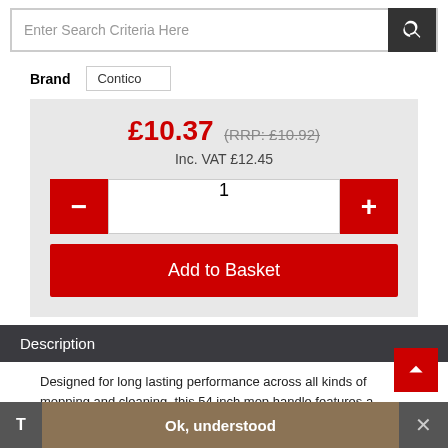Enter Search Criteria Here
| Brand | Contico |
| --- | --- |
£10.37 (RRP: £10.92) Inc. VAT £12.45
1
Add to Basket
Description
Designed for long lasting performance across all kinds of mopping and cleaning, this 54 inch mop handle features a
T   Ok, understood   ×